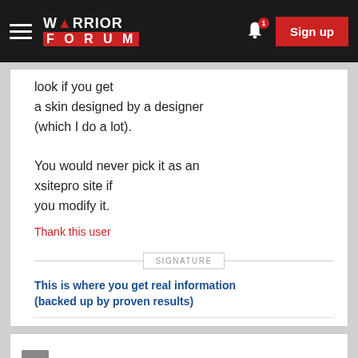WARRIOR FORUM — Sign up
look if you get a skin designed by a designer (which I do a lot).

You would never pick it as an xsitepro site if you modify it.
Thank this user
SIGNATURE
This is where you get real information (backed up by proven results)
platina